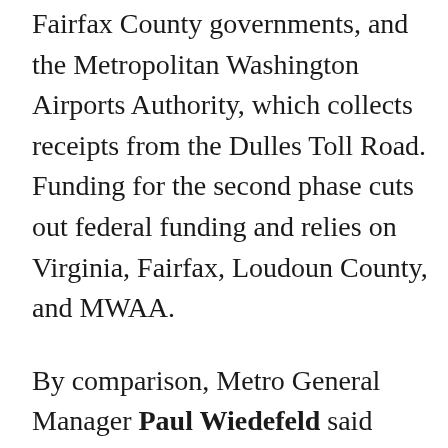Fairfax County governments, and the Metropolitan Washington Airports Authority, which collects receipts from the Dulles Toll Road. Funding for the second phase cuts out federal funding and relies on Virginia, Fairfax, Loudoun County, and MWAA.
By comparison, Metro General Manager Paul Wiedefeld said Tuesday his SafeTrack plan, which includes extensive, long-overdue replacements of electrical equipment and rail ties throughout the system, is expected to cost about $60 million. This is not